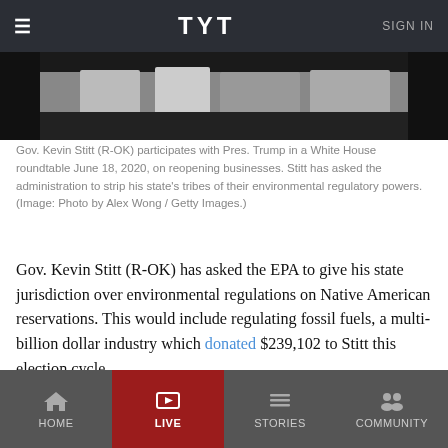TYT | SIGN IN
[Figure (photo): Partial photo of Gov. Kevin Stitt and Pres. Trump at a White House roundtable, showing figures from about chest level up against a dark background.]
Gov. Kevin Stitt (R-OK) participates with Pres. Trump in a White House roundtable June 18, 2020, on reopening businesses. Stitt has asked the administration to strip his state's tribes of their environmental regulatory powers. (Image: Photo by Alex Wong / Getty Images.)
Gov. Kevin Stitt (R-OK) has asked the EPA to give his state jurisdiction over environmental regulations on Native American reservations. This would include regulating fossil fuels, a multi-billion dollar industry which donated $239,102 to Stitt this election cycle.
This move could destroy opportunities for tribal leaders to reduce pollution and fossil fuel dependency in the eastern half of Oklahoma, effectively thwarting last month's Supreme court ruling giving the tribes sovereignty over the vast area.
HOME | LIVE | STORIES | COMMUNITY